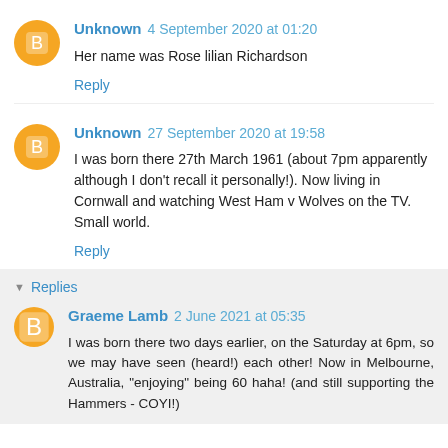Unknown 4 September 2020 at 01:20
Her name was Rose lilian Richardson
Reply
Unknown 27 September 2020 at 19:58
I was born there 27th March 1961 (about 7pm apparently although I don't recall it personally!). Now living in Cornwall and watching West Ham v Wolves on the TV. Small world.
Reply
Replies
Graeme Lamb 2 June 2021 at 05:35
I was born there two days earlier, on the Saturday at 6pm, so we may have seen (heard!) each other! Now in Melbourne, Australia, "enjoying" being 60 haha! (and still supporting the Hammers - COYI!)